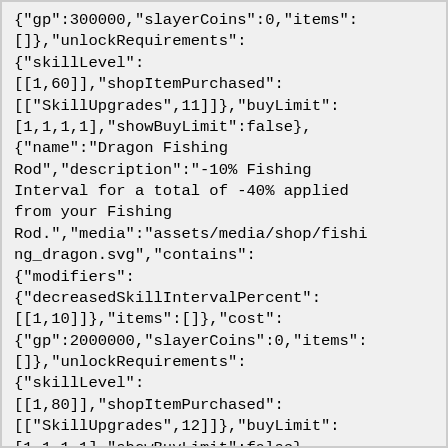{"gp":300000,"slayerCoins":0,"items":[],"unlockRequirements":{"skillLevel":[[1,60]],"shopItemPurchased":[["SkillUpgrades",11]]},"buyLimit":[1,1,1,1],"showBuyLimit":false},{"name":"Dragon Fishing Rod","description":"-10% Fishing Interval for a total of -40% applied from your Fishing Rod.","media":"assets/media/shop/fishing_dragon.svg","contains":{"modifiers":{"decreasedSkillIntervalPercent":[[1,10]]},"items":[]},"cost":{"gp":2000000,"slayerCoins":0,"items":[]},"unlockRequirements":{"skillLevel":[[1,80]],"shopItemPurchased":[["SkillUpgrades",12]]},"buyLimit":[1,1,1,1],"showBuyLimit":false},{"name":"Iron